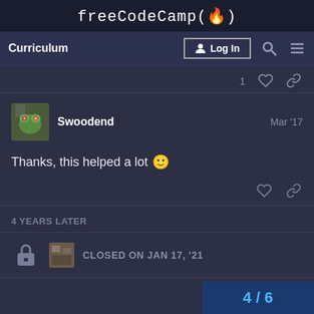freeCodeCamp(🔥)
Curriculum | Log In | Search | Menu
1 ♡ 🔗
Swoodend   Mar '17
Thanks, this helped a lot 🙂
♡ 🔗
4 YEARS LATER
CLOSED ON JAN 17, '21
4 / 6